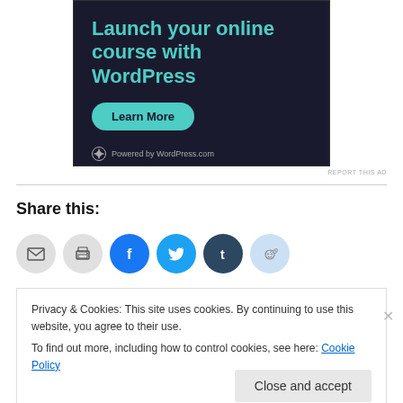[Figure (illustration): Advertisement banner with dark navy background showing 'Launch your online course with WordPress' text in teal, a teal 'Learn More' button, and 'Powered by WordPress.com' at the bottom.]
REPORT THIS AD
Share this:
[Figure (other): Social share buttons: email (grey), print (grey), Facebook (blue), Twitter (cyan), Tumblr (dark), Reddit (light blue)]
Privacy & Cookies: This site uses cookies. By continuing to use this website, you agree to their use.
To find out more, including how to control cookies, see here: Cookie Policy
Close and accept